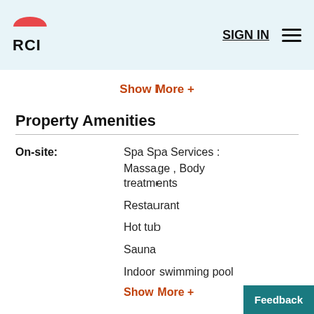RCI — SIGN IN
Show More +
Property Amenities
On-site: Spa Spa Services : Massage , Body treatments
Restaurant
Hot tub
Sauna
Indoor swimming pool
Show More +
Off-site: Marina (Nearby)
Feedback